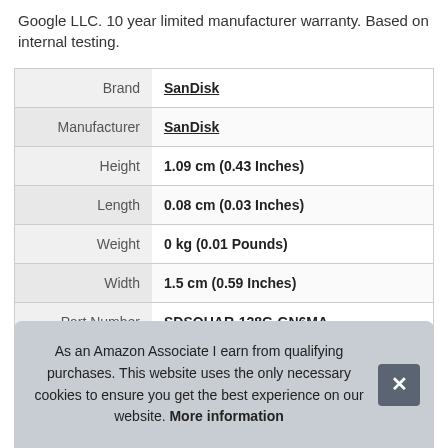Google LLC. 10 year limited manufacturer warranty. Based on internal testing.
|  |  |
| --- | --- |
| Brand | SanDisk |
| Manufacturer | SanDisk |
| Height | 1.09 cm (0.43 Inches) |
| Length | 0.08 cm (0.03 Inches) |
| Weight | 0 kg (0.01 Pounds) |
| Width | 1.5 cm (0.59 Inches) |
| Part Number | SDSQUAR-128G-GN6MA |
As an Amazon Associate I earn from qualifying purchases. This website uses the only necessary cookies to ensure you get the best experience on our website. More information